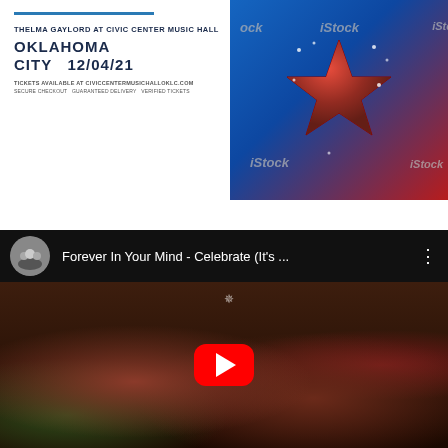[Figure (infographic): Concert ticket advertisement for Thelma Gaylord at Civic Center Music Hall, Oklahoma City, 12/04/21 with blue decorative line and ticket info]
[Figure (photo): iStock photo of a glowing red Christmas star against blue background with sparkles and red curtain]
[Figure (screenshot): YouTube video embed showing 'Forever In Your Mind - Celebrate (It's ...' with YouTube play button overlay on thumbnail of group of young people in Christmas sweaters]